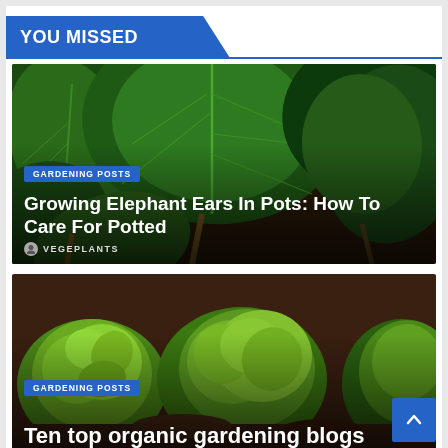YOU MISSED
[Figure (photo): Close-up photograph of large elephant ear (taro) plants with massive dark green leaves showing prominent veins, in a garden setting]
GARDENING POSTS
Growing Elephant Ears In Pots: How To Care For Potted
VEGEPLANTS
[Figure (photo): Close-up photograph of bright green leafy lettuce heads growing in garden soil]
GARDENING POSTS
Ten top organic gardening blogs